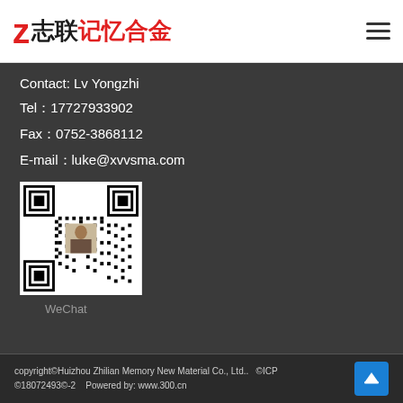志联记忆合金
Contact: Lv Yongzhi
Tel：17727933902
Fax：0752-3868112
E-mail：luke@xvvsma.com
[Figure (other): WeChat QR code with person photo in center]
WeChat
copyright©Huizhou Zhilian Memory New Material Co., Ltd..  ©ICP ©18072493©-2  Powered by: www.300.cn